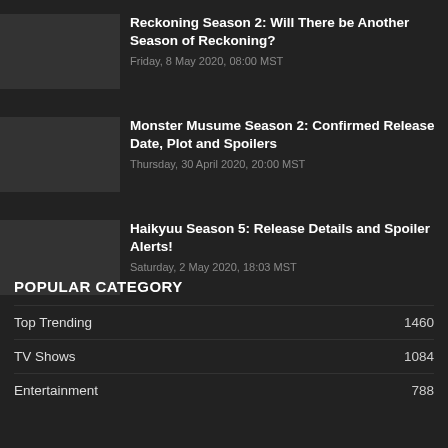Reckoning Season 2: Will There be Another Season of Reckoning?
Friday, 8 May 2020, 08:00 MST
Monster Musume Season 2: Confirmed Release Date, Plot and Spoilers
Thursday, 30 April 2020, 20:00 MST
Haikyuu Season 5: Release Details and Spoiler Alerts!
Saturday, 2 May 2020, 18:03 MST
POPULAR CATEGORY
Top Trending 1460
TV Shows 1084
Entertainment 788